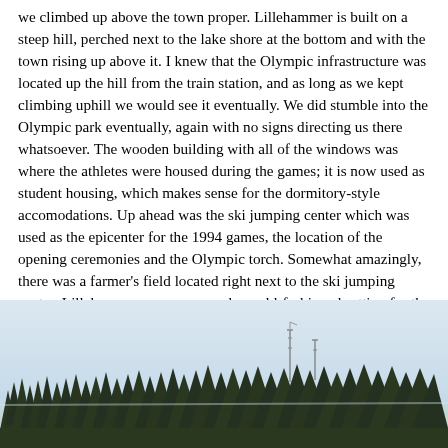we climbed up above the town proper. Lillehammer is built on a steep hill, perched next to the lake shore at the bottom and with the town rising up above it. I knew that the Olympic infrastructure was located up the hill from the train station, and as long as we kept climbing uphill we would see it eventually. We did stumble into the Olympic park eventually, again with no signs directing us there whatsoever. The wooden building with all of the windows was where the athletes were housed during the games; it is now used as student housing, which makes sense for the dormitory-style accomodations. Up ahead was the ski jumping center which was used as the epicenter for the 1994 games, the location of the opening ceremonies and the Olympic torch. Somewhat amazingly, there was a farmer's field located right next to the ski jumping center. Lillehammer was very much an old-fashioned setting for the Olympics that recalled the days of true amateur athletes. With all of the big money now invested into the event, I don't think that the International Olympic Committee would choose a small town like this again to host the event, and that's a shame.
[Figure (photo): Outdoor photograph showing a treeline of dark evergreen/coniferous trees (forest silhouette) against a pale grey-blue sky, with what appears to be ski jump infrastructure visible above the trees in the distance.]